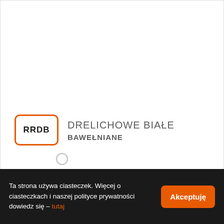[Figure (screenshot): Product card showing RRDB code box with orange border and product name DRELICHOWE BIAŁE BAWEŁNIANE]
RRDB
DRELICHOWE BIAŁE BAWEŁNIANE
Ta strona używa ciasteczek. Więcej o ciasteczkach i naszej polityce prywatności dowiedz się – tutaj
Akceptuję